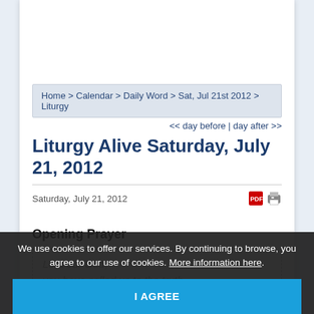Home > Calendar > Daily Word > Sat, Jul 21st 2012 > Liturgy
<< day before | day after >>
Liturgy Alive Saturday, July 21, 2012
Saturday, July 21, 2012
Opening Prayer
Lord our God,
you have called us to the truth
as the wise and perfect servant
...
Put your Spirit on us too.
We use cookies to offer our services. By continuing to browse, you agree to our use of cookies. More information here.
I AGREE